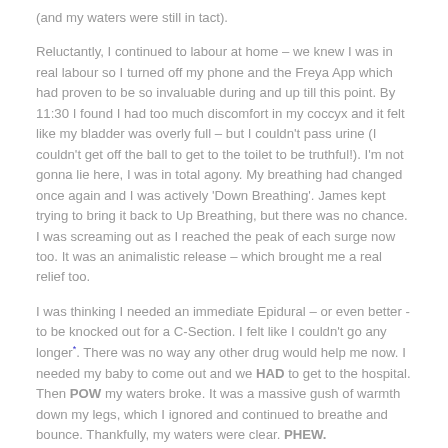(and my waters were still in tact).
Reluctantly, I continued to labour at home – we knew I was in real labour so I turned off my phone and the Freya App which had proven to be so invaluable during and up till this point. By 11:30 I found I had too much discomfort in my coccyx and it felt like my bladder was overly full – but I couldn't pass urine (I couldn't get off the ball to get to the toilet to be truthful!). I'm not gonna lie here, I was in total agony. My breathing had changed once again and I was actively 'Down Breathing'. James kept trying to bring it back to Up Breathing, but there was no chance. I was screaming out as I reached the peak of each surge now too. It was an animalistic release – which brought me a real relief too.
I was thinking I needed an immediate Epidural – or even better -to be knocked out for a C-Section. I felt like I couldn't go any longer*. There was no way any other drug would help me now. I needed my baby to come out and we HAD to get to the hospital. Then POW my waters broke. It was a massive gush of warmth down my legs, which I ignored and continued to breathe and bounce. Thankfully, my waters were clear. PHEW.